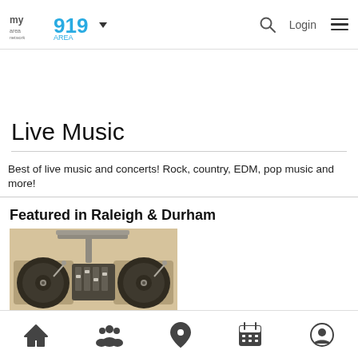my area network | 919 AREA — Login
Live Music
Best of live music and concerts! Rock, country, EDM, pop music and more!
Featured in Raleigh & Durham
[Figure (photo): Two turntables and a DJ mixer on a table, sepia/warm toned photo]
Bottom navigation bar: Home, People, Location, Calendar, Profile